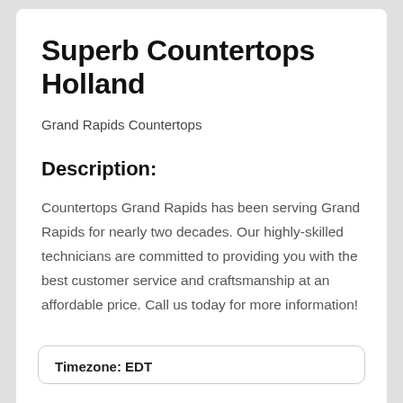Superb Countertops Holland
Grand Rapids Countertops
Description:
Countertops Grand Rapids has been serving Grand Rapids for nearly two decades. Our highly-skilled technicians are committed to providing you with the best customer service and craftsmanship at an affordable price. Call us today for more information!
Timezone: EDT